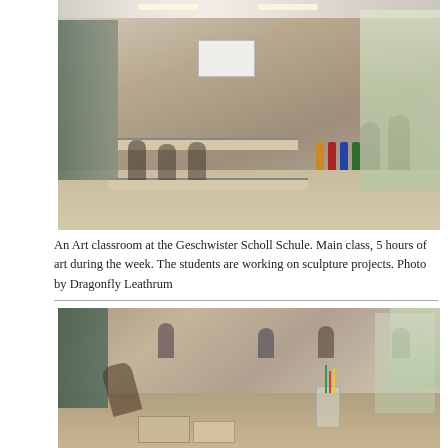[Figure (photo): An art classroom at the Geschwister Scholl Schule showing students seated at long tables working on projects. Paint bottles, art supplies, and a whiteboard are visible. Large windows on the right let in natural light.]
An Art classroom at the Geschwister Scholl Schule. Main class, 5 hours of art during the week. The students are working on sculpture projects. Photo by Dragonfly Leathrum
[Figure (photo): A closer view of the same art classroom showing students gathered around tables with various art supplies, jars, pencils, and craft materials in the foreground. Students are visible in the background.]